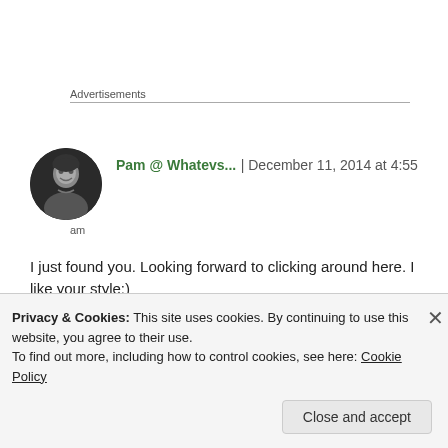Advertisements
Pam @ Whatevs... | December 11, 2014 at 4:55 am
I just found you. Looking forward to clicking around here. I like your style:)
Liked by 1 person
Privacy & Cookies: This site uses cookies. By continuing to use this website, you agree to their use.
To find out more, including how to control cookies, see here: Cookie Policy